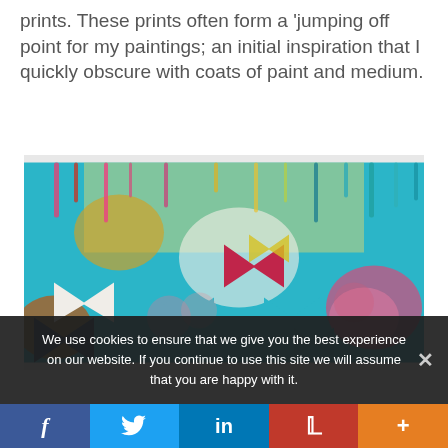prints. These prints often form a 'jumping off point for my paintings; an initial inspiration that I quickly obscure with coats of paint and medium.
[Figure (photo): A colorful abstract painting with chevron/arrow shapes in teal, white, dark navy, and red/magenta, with dripping paint at the top in various colors including pink, teal, yellow, against a bright teal background with floral/coral textures.]
We use cookies to ensure that we give you the best experience on our website. If you continue to use this site we will assume that you are happy with it.
f  Twitter  in  Pinterest  +